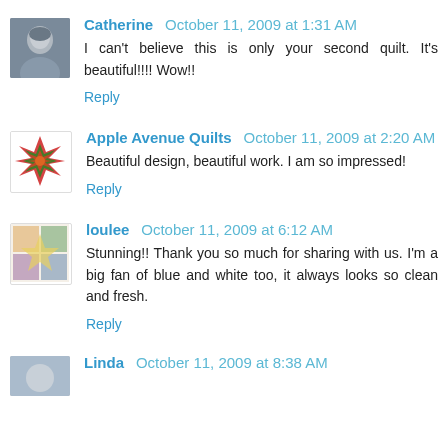[Figure (photo): Avatar photo of Catherine, woman with gray hair]
Catherine  October 11, 2009 at 1:31 AM
I can't believe this is only your second quilt. It's beautiful!!!! Wow!!
Reply
[Figure (logo): Apple Avenue Quilts logo, quilt block star pattern in red and green]
Apple Avenue Quilts  October 11, 2009 at 2:20 AM
Beautiful design, beautiful work. I am so impressed!
Reply
[Figure (photo): Avatar image for loulee, colorful quilt design]
loulee  October 11, 2009 at 6:12 AM
Stunning!! Thank you so much for sharing with us. I'm a big fan of blue and white too, it always looks so clean and fresh.
Reply
[Figure (photo): Partial avatar image for Linda]
Linda  October 11, 2009 at 8:38 AM